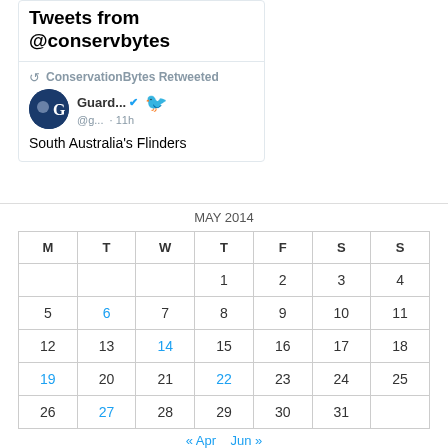Tweets from @conservbytes
ConservationBytes Retweeted
Guard... @g... · 11h
South Australia's Flinders
| M | T | W | T | F | S | S |
| --- | --- | --- | --- | --- | --- | --- |
|  |  |  | 1 | 2 | 3 | 4 |
| 5 | 6 | 7 | 8 | 9 | 10 | 11 |
| 12 | 13 | 14 | 15 | 16 | 17 | 18 |
| 19 | 20 | 21 | 22 | 23 | 24 | 25 |
| 26 | 27 | 28 | 29 | 30 | 31 |  |
« Apr   Jun »